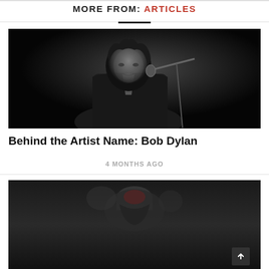MORE FROM: ARTICLES
[Figure (photo): Black and white photo of Bob Dylan performing at a microphone, dark background]
Behind the Artist Name: Bob Dylan
4 MONTHS AGO
[Figure (screenshot): Partial view of a dark-background article page with an ad overlay showing American Songwriter membership promotion with GET 2-WEEKS FREE and a chat interface screenshot]
[Figure (infographic): American Songwriter membership advertisement with GET 2-WEEKS FREE button in red on blue background]